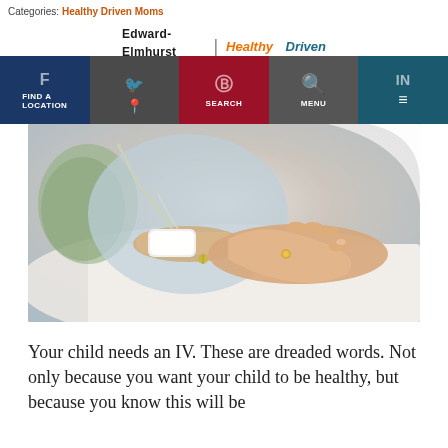Categories: Healthy Driven Moms
Edward-Elmhurst HEALTH | Healthy Driven
[Figure (photo): A person holding the hand of a patient in a hospital bed, with an IV line attached to the patient's hand, white linens visible.]
Your child needs an IV. These are dreaded words. Not only because you want your child to be healthy, but because you know this will be